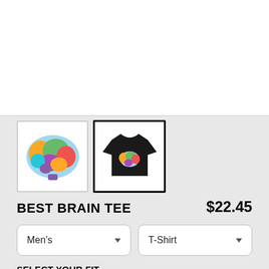[Figure (photo): White area at top serving as main product image display area]
[Figure (photo): Two product thumbnail images side by side: first shows colorful brain illustration on white background, second (selected, black border) shows black t-shirt with colorful brain design]
BEST BRAIN TEE
$22.45
Men's
T-Shirt
SELECT YOUR FIT
$22.45
Regular
$27.95
Extra Soft